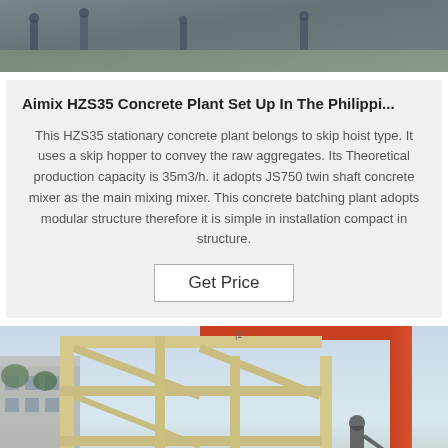[Figure (photo): Top portion of a construction site photo showing workers on a concrete floor, cropped at the top of the page]
Aimix HZS35 Concrete Plant Set Up In The Philippi...
This HZS35 stationary concrete plant belongs to skip hoist type. It uses a skip hopper to convey the raw aggregates. Its Theoretical production capacity is 35m3/h. it adopts JS750 twin shaft concrete mixer as the main mixing mixer. This concrete batching plant adopts modular structure therefore it is simple in installation compact in structure.
Get Price
[Figure (photo): Photo of a yellow/cream colored concrete plant or machinery frame structure with an orange crane arm visible, and a person standing nearby, taken outdoors with blue sky and buildings in the background]